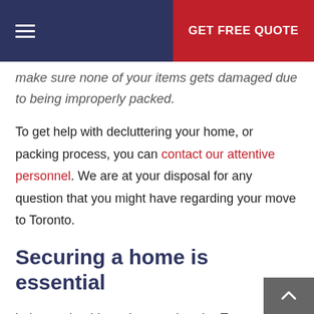GET FREE QUOTE
make sure none of your items gets damaged due to being improperly packed.
To get help with decluttering your home, or packing process, you can contact our attentive personnel. We are at your disposal for any question that you might have regarding your move to Toronto.
Securing a home is essential
being such a big and expensive city, Toronto will cost you a lot of money, in case you haven't secured some affordable housing solution in advance. Hiring real estate agents will help a lot with this. Discuss everything you need and let